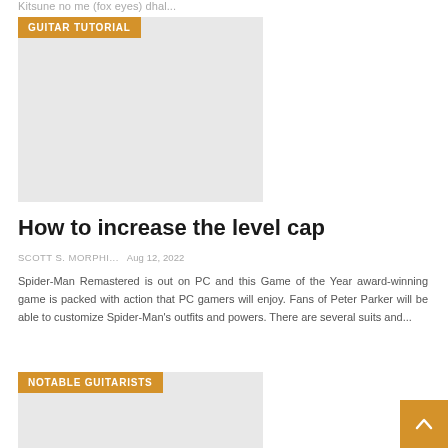Kitsune no me (fox eyes) dhal...
[Figure (other): Placeholder image with orange GUITAR TUTORIAL badge overlay]
How to increase the level cap
SCOTT S. MORPHI...  Aug 12, 2022
Spider-Man Remastered is out on PC and this Game of the Year award-winning game is packed with action that PC gamers will enjoy. Fans of Peter Parker will be able to customize Spider-Man's outfits and powers. There are several suits and...
[Figure (other): Placeholder image with orange NOTABLE GUITARISTS badge overlay]
[Figure (other): Orange scroll-to-top button with arrow icon]